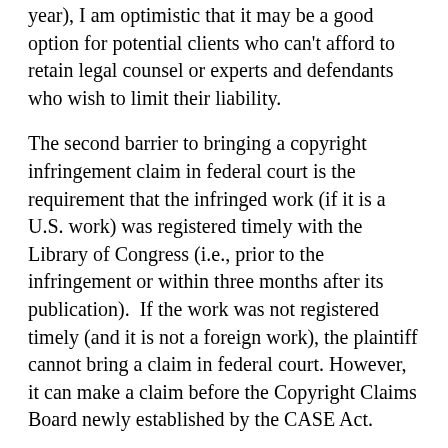year), I am optimistic that it may be a good option for potential clients who can't afford to retain legal counsel or experts and defendants who wish to limit their liability.
The second barrier to bringing a copyright infringement claim in federal court is the requirement that the infringed work (if it is a U.S. work) was registered timely with the Library of Congress (i.e., prior to the infringement or within three months after its publication).  If the work was not registered timely (and it is not a foreign work), the plaintiff cannot bring a claim in federal court. However, it can make a claim before the Copyright Claims Board newly established by the CASE Act.
In any case, keep in mind that, the CASE Act process is voluntary; once a claim is filed, defendants have a sixty day period to opt-out. This method is not available to plaintiffs if the defendant is a federal or state government or a foreign entity, or for claims previously established in pending cases. Therefore, it may not be a proper venue for many cases, even before considering the damages limitations described